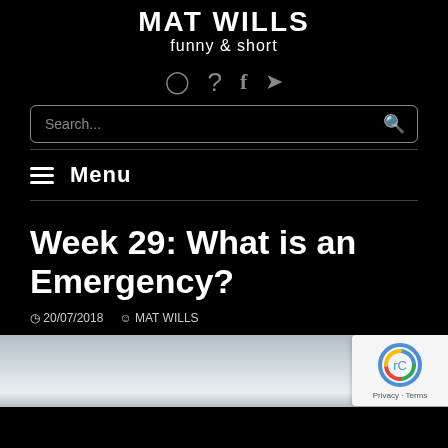MAT WILLS funny & short
[Figure (other): Social media icons: Instagram, question mark, Facebook, Twitter]
Search...
Menu
Week 29: What is an Emergency?
20/07/2018  MAT WILLS
[Figure (photo): Cloudy sky photograph, partially visible at bottom of page]
[Figure (other): reCAPTCHA badge with Privacy and Terms links]